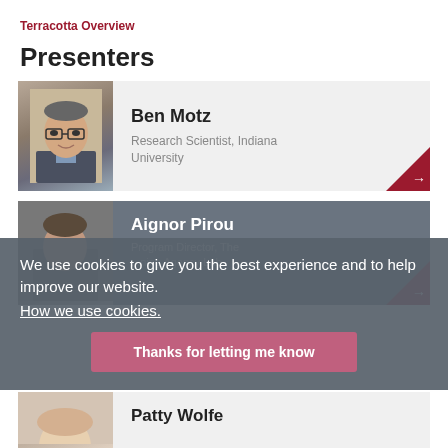Terracotta Overview
Presenters
[Figure (photo): Photo of Ben Motz, a man with glasses wearing a dark jacket and blue shirt]
Ben Motz
Research Scientist, Indiana University
[Figure (photo): Photo of Aignor Pirou, partially visible]
Aignor Pirou
Program Director, The ...ning Agency Lab
We use cookies to give you the best experience and to help improve our website.
How we use cookies.
Thanks for letting me know
[Figure (photo): Photo of Patty Wolfe, partially visible]
Patty Wolfe